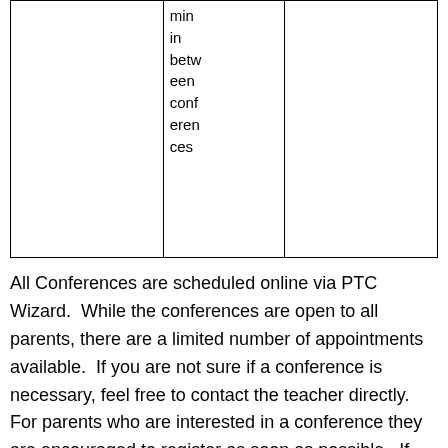|  | min
in
between
conferences |  |
All Conferences are scheduled online via PTC Wizard.  While the conferences are open to all parents, there are a limited number of appointments available.  If you are not sure if a conference is necessary, feel free to contact the teacher directly.   For parents who are interested in a conference they are encouraged to register as soon as possible.  If you are unable to meet during conferences or feel that